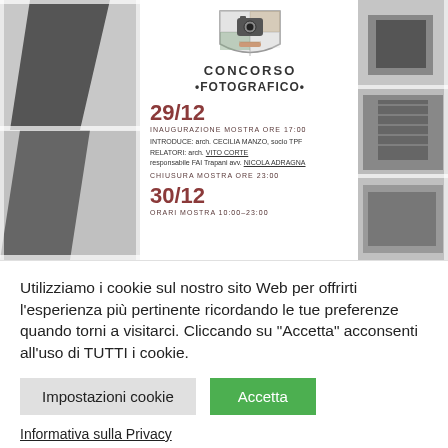[Figure (photo): A cropped poster for a photography contest (Concorso Fotografico) showing event details for 29/12 and 30/12, with black-and-white architectural photos on left and right strips, a camera logo at top center, and event schedule text in the center white panel.]
Utilizziamo i cookie sul nostro sito Web per offrirti l'esperienza più pertinente ricordando le tue preferenze quando torni a visitarci. Cliccando su "Accetta" acconsenti all'uso di TUTTI i cookie.
Impostazioni cookie
Accetta
Informativa sulla Privacy